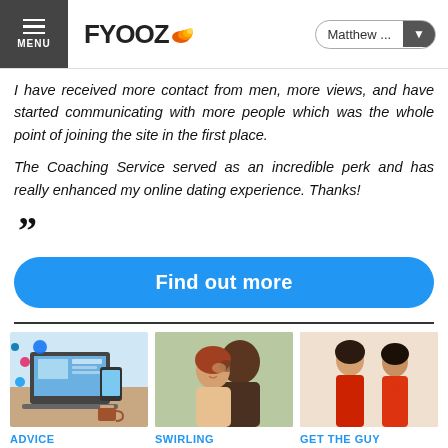FYOOZ — Matthew ...
I have received more contact from men, more views, and have started communicating with more people which was the whole point of joining the site in the first place.

The Coaching Service served as an incredible perk and has really enhanced my online dating experience. Thanks!
Find out more
[Figure (photo): Laptop with social media icons and phone]
ADVICE
Leadership, Social Media, and Self-Awareness
[Figure (photo): Couple about to kiss, smiling woman]
SWIRLING
Lessons to learn from black male swirlers
[Figure (photo): Woman in red dress]
GET THE GUY
The 3 EASY WAYS To Become More ATTRACTIVE